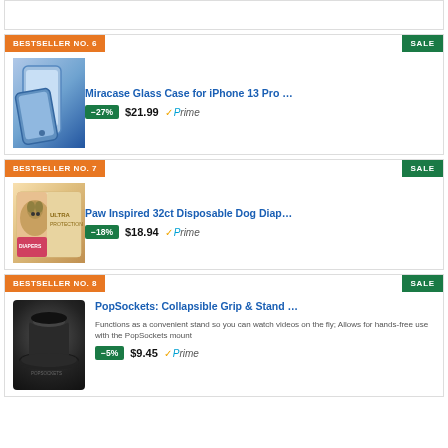BESTSELLER NO. 6
SALE
[Figure (photo): Miracase Glass Case for iPhone 13 Pro product image]
Miracase Glass Case for iPhone 13 Pro …
−27% $21.99 Prime
BESTSELLER NO. 7
SALE
[Figure (photo): Paw Inspired 32ct Disposable Dog Diapers product image]
Paw Inspired 32ct Disposable Dog Diap…
−18% $18.94 Prime
BESTSELLER NO. 8
SALE
[Figure (photo): PopSockets Collapsible Grip & Stand product image]
PopSockets: Collapsible Grip & Stand …
Functions as a convenient stand so you can watch videos on the fly; Allows for hands-free use with the PopSockets mount
−5% $9.45 Prime